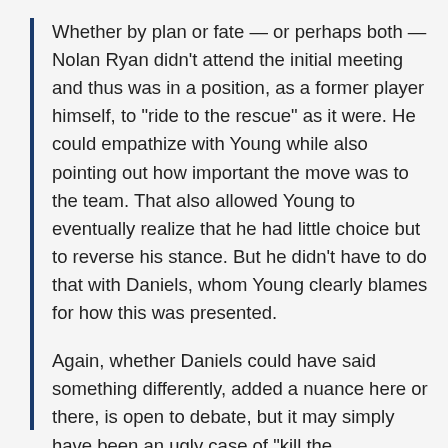Whether by plan or fate — or perhaps both — Nolan Ryan didn't attend the initial meeting and thus was in a position, as a former player himself, to "ride to the rescue" as it were. He could empathize with Young while also pointing out how important the move was to the team. That also allowed Young to eventually realize that he had little choice but to reverse his stance. But he didn't have to do that with Daniels, whom Young clearly blames for how this was presented.
Again, whether Daniels could have said something differently, added a nuance here or there, is open to debate, but it may simply have been an ugly case of "kill the messenger."
Having been "the messenger" on many occasions, I